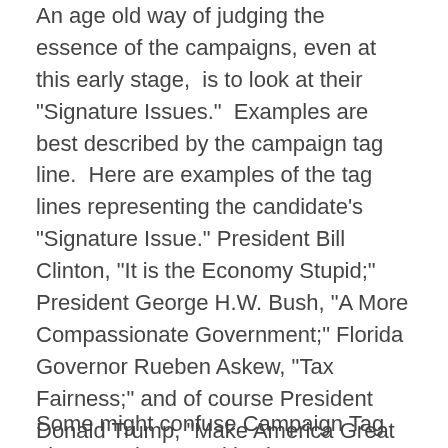An age old way of judging the essence of the campaigns, even at this early stage,  is to look at their "Signature Issues."  Examples are best described by the campaign tag line.  Here are examples of the tag lines representing the candidate's "Signature Issue." President Bill Clinton, "It is the Economy Stupid;"  President George H.W. Bush, "A More Compassionate Government;" Florida Governor Rueben Askew, "Tax Fairness;" and of course President Donald Trump, "Make America Great Again."  The idea is a vital part of branding--this is what you will get if you vote for me.
Some might confuse Campaign Tag Lines or Slogans with Signature Issues.